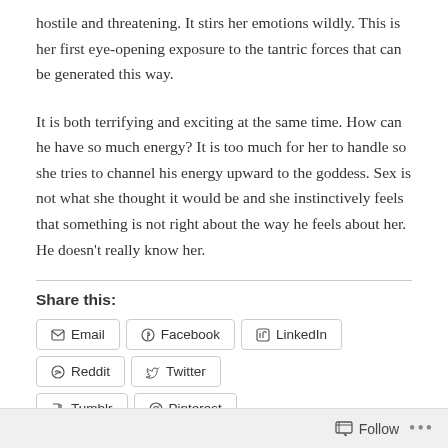hostile and threatening. It stirs her emotions wildly. This is her first eye-opening exposure to the tantric forces that can be generated this way.
It is both terrifying and exciting at the same time. How can he have so much energy? It is too much for her to handle so she tries to channel his energy upward to the goddess. Sex is not what she thought it would be and she instinctively feels that something is not right about the way he feels about her. He doesn't really know her.
Share this:
Email
Facebook
LinkedIn
Reddit
Twitter
Tumblr
Pinterest
Follow ...